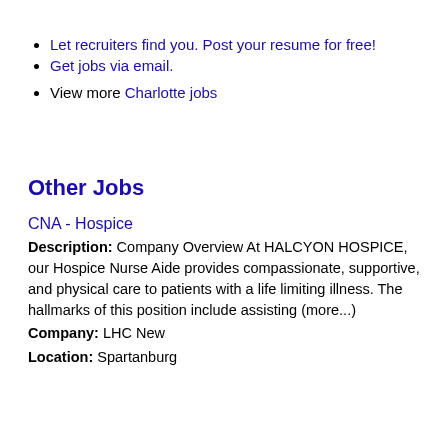Let recruiters find you. Post your resume for free!
Get jobs via email.
View more Charlotte jobs
Other Jobs
CNA - Hospice
Description: Company Overview At HALCYON HOSPICE, our Hospice Nurse Aide provides compassionate, supportive, and physical care to patients with a life limiting illness. The hallmarks of this position include assisting (more...)
Company: LHC New
Location: Spartanburg